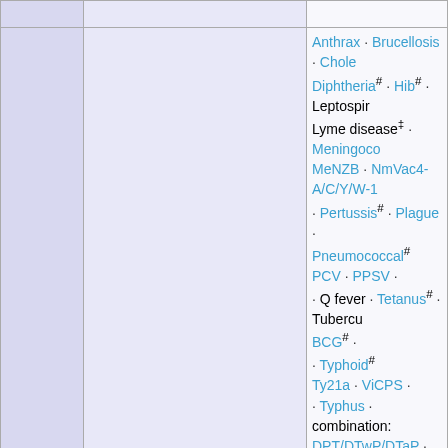|  | Type | Vaccines |
| --- | --- | --- |
|  | Bacterial | Anthrax · Brucellosis · Cholera · Diphtheria# · Hib# · Leptospirosis · Lyme disease‡ · Meningococcal MeNZB · NmVac4-A/C/Y/W-135 · Pertussis# · Plague · Pneumococcal# PCV · PPSV · Q fever · Tetanus# · Tuberculosis BCG# · Typhoid# Ty21a · ViCPS · Typhus · combination: DPT/DTwP/DTaP · Td/Tdap · research: Clostridioides difficile · Group B streptococcal disease · Shigellosis · |
|  |  | Adenovirus · Ebola rVSV-ZEBOV · |